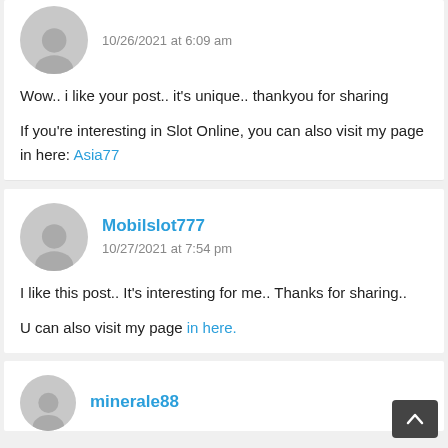10/26/2021 at 6:09 am
Wow.. i like your post.. it’s unique.. thankyou for sharing
If you’re interesting in Slot Online, you can also visit my page in here: Asia77
Mobilslot777
10/27/2021 at 7:54 pm
I like this post.. It’s interesting for me.. Thanks for sharing..
U can also visit my page in here.
minerale88